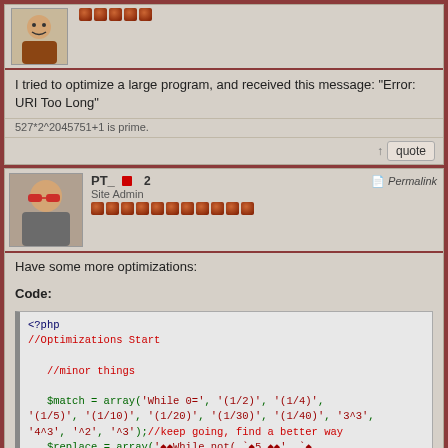[Figure (screenshot): Forum post with avatar photo, username dots (red circles), post text and quote button]
I tried to optimize a large program, and received this message: "Error: URI Too Long"
527*2^2045751+1 is prime.
↑ quote
[Figure (photo): Avatar photo of PT_ (person with sunglasses)]
PT_ 🏅 2
Site Admin
Have some more optimizations:
Code:
<?php
//Optimizations Start

   //minor things

   $match = array('While 0=', '(1/2)', '(1/4)',
'(1/5)', '(1/10)', '(1/20)', '(1/30)', '(1/40)', '3^3',
'4^3', '^2', '^3');//keep going, find a better way
   $replace = array('◆◆While not(,`◆5.◆◆' ,`◆
,`◆3.◆◆' ,`◆2.◆◆' ,`◆1.◆◆' ,`◆2.◆◆' ,`◆75.◆◆'
◆◆◆◆' ,`◆◆◆◆' ,`◆64◆◆' ,`◆27◆◆' ,`◆4.◆◆'');
   $string = repstr($match, $replace, $string);

   $match = array ('@([0-9])\*([A-Z|◆])@', '@([A-Z|
◆])\*([0-9])@', '@([0-9|A-Z|◆])/\(([0-9|A-Z|◆])\)@',
'@◆\\(?@', '@10\\(?@', '@Output\(1,1,"([[: alnum:]]
{1,16})@');
   $replace = array ('◆◆\1\2,`◆2\1\◆◆' ,`◆